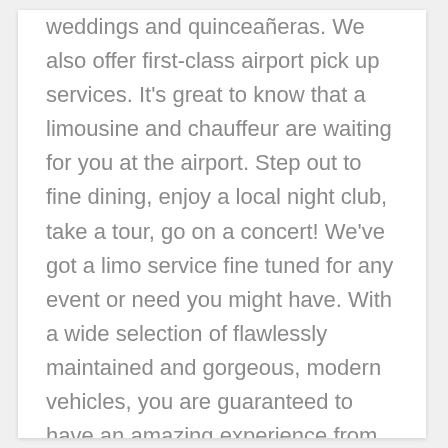weddings and quinceañeras. We also offer first-class airport pick up services. It's great to know that a limousine and chauffeur are waiting for you at the airport. Step out to fine dining, enjoy a local night club, take a tour, go on a concert! We've got a limo service fine tuned for any event or need you might have. With a wide selection of flawlessly maintained and gorgeous, modern vehicles, you are guaranteed to have an amazing experience from the instant you step in until you step out. AZ Black Tie Limousines & Transportation serves the entire Phoenix metro area. Our clientele is spread across the entire region from our base in Scottsdale. From Tempe, to Glendale, to Scottsdale, to Gilbert, we cover it all. Wherever you are, give us a call to schedule your limo service. You can also book on our website with our easy online booking tool that will have you ready to go in a few minutes flat! Don't hesitate to get in touch if you have any